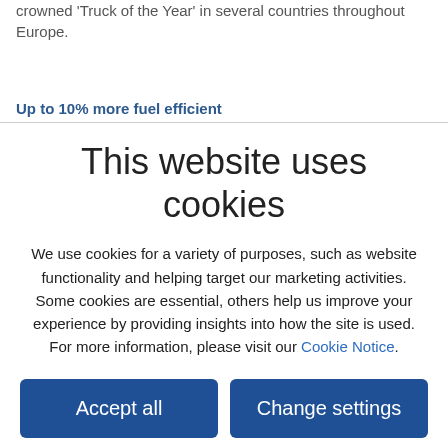crowned 'Truck of the Year' in several countries throughout Europe.
Up to 10% more fuel efficient
This website uses cookies
We use cookies for a variety of purposes, such as website functionality and helping target our marketing activities. Some cookies are essential, others help us improve your experience by providing insights into how the site is used. For more information, please visit our Cookie Notice.
Accept all
Change settings